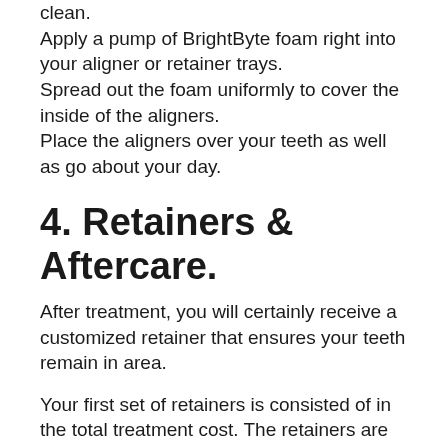clean.
Apply a pump of BrightByte foam right into your aligner or retainer trays.
Spread out the foam uniformly to cover the inside of the aligners.
Place the aligners over your teeth as well as go about your day.
4. Retainers & Aftercare.
After treatment, you will certainly receive a customized retainer that ensures your teeth remain in area.
Your first set of retainers is consisted of in the total treatment cost. The retainers are made for comfortable over night wear. They also consist of a teeth lightening foam